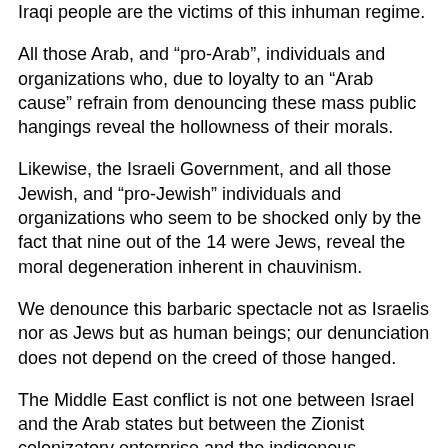Iraqi people are the victims of this inhuman regime.
All those Arab, and “pro-Arab”, individuals and organizations who, due to loyalty to an “Arab cause” refrain from denouncing these mass public hangings reveal the hollowness of their morals.
Likewise, the Israeli Government, and all those Jewish, and “pro-Jewish” individuals and organizations who seem to be shocked only by the fact that nine out of the 14 were Jews, reveal the moral degeneration inherent in chauvinism.
We denounce this barbaric spectacle not as Israelis nor as Jews but as human beings; our denunciation does not depend on the creed of those hanged.
The Middle East conflict is not one between Israel and the Arab states but between the Zionist colonizatory enterprise and the indigenous Palestinian people who are its main victims.